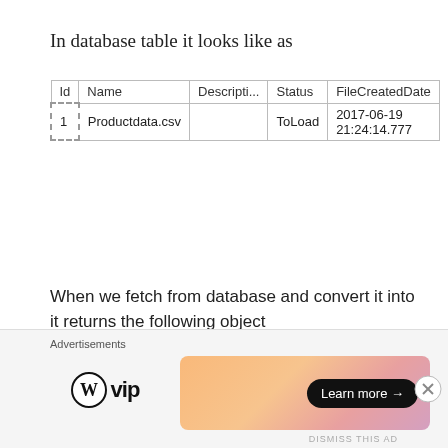In database table it looks like as
| Id | Name | Descripti... | Status | FileCreatedDate |
| --- | --- | --- | --- | --- |
| 1 | Productdata.csv |  | ToLoad | 2017-06-19 21:24:14.777 |
When we fetch from database and convert it into it returns the following object
{6/19/2017 9:24:14 PM}
  Date: {6/19/2017 12:00:00 AM}
  Day: 19
  DayOfWeek: Monday
  DayOfYear: 170
  Hour: 21
Advertisements